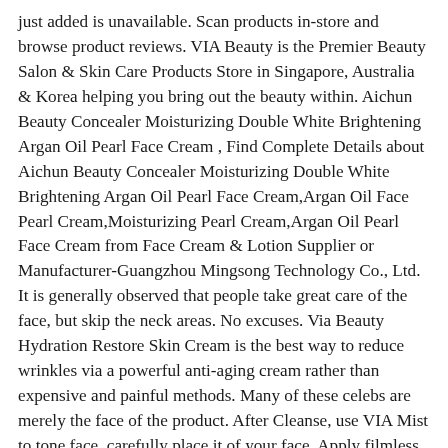just added is unavailable. Scan products in-store and browse product reviews. VIA Beauty is the Premier Beauty Salon & Skin Care Products Store in Singapore, Australia & Korea helping you bring out the beauty within. Aichun Beauty Concealer Moisturizing Double White Brightening Argan Oil Pearl Face Cream , Find Complete Details about Aichun Beauty Concealer Moisturizing Double White Brightening Argan Oil Pearl Face Cream,Argan Oil Face Pearl Cream,Moisturizing Pearl Cream,Argan Oil Pearl Face Cream from Face Cream & Lotion Supplier or Manufacturer-Guangzhou Mingsong Technology Co., Ltd. It is generally observed that people take great care of the face, but skip the neck areas. No excuses. Via Beauty Hydration Restore Skin Cream is the best way to reduce wrinkles via a powerful anti-aging cream rather than expensive and painful methods. Many of these celebs are merely the face of the product. After Cleanse, use VIA Mist to tone face, carefully place it of your face, Apply filmless side on face. Firm MX (Review 2020) : #1 In The Market! There is no need to register. Luxury meets purity with Luxe beauty. Keep rotating your fingers in circular patterns for good product results. T housands of women in Britain – … I cannot use this product because there is something in it that makes my eyes burn. Thanks for reading and stay beautiful! Call us at 310-422-5877. It is an obstacle to being safe all day from serious environmental problems. Restrictions apply. beauty brands Customer Service is ready to assist you. Official Clarins online store - browse the best